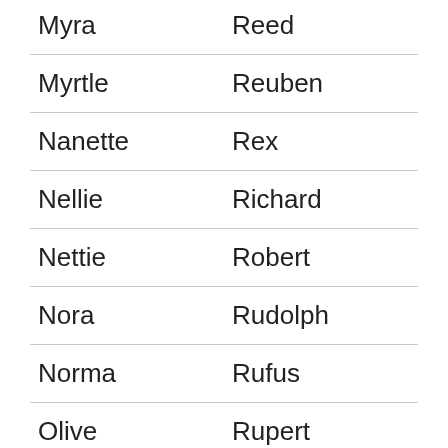| Myra | Reed |
| Myrtle | Reuben |
| Nanette | Rex |
| Nellie | Richard |
| Nettie | Robert |
| Nora | Rudolph |
| Norma | Rufus |
| Olive | Rupert |
| Olivia | Russell |